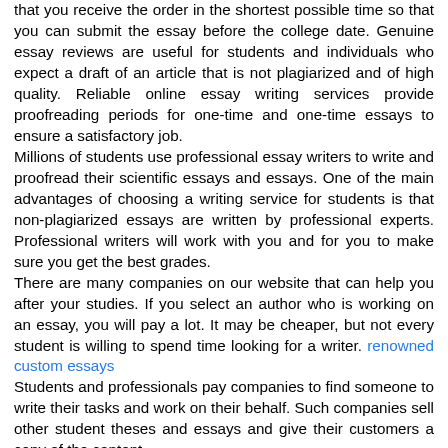that you receive the order in the shortest possible time so that you can submit the essay before the college date. Genuine essay reviews are useful for students and individuals who expect a draft of an article that is not plagiarized and of high quality. Reliable online essay writing services provide proofreading periods for one-time and one-time essays to ensure a satisfactory job.
Millions of students use professional essay writers to write and proofread their scientific essays and essays. One of the main advantages of choosing a writing service for students is that non-plagiarized essays are written by professional experts. Professional writers will work with you and for you to make sure you get the best grades.
There are many companies on our website that can help you after your studies. If you select an author who is working on an essay, you will pay a lot. It may be cheaper, but not every student is willing to spend time looking for a writer. renowned custom essays
Students and professionals pay companies to find someone to write their tasks and work on their behalf. Such companies sell other student theses and essays and give their customers a copy of the content.